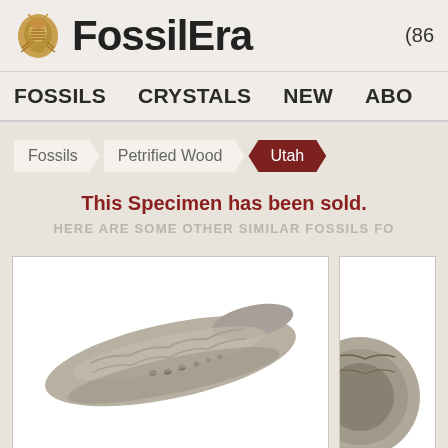FossilEra (86…
FOSSILS  CRYSTALS  NEW  ABO
Fossils
Petrified Wood
Utah
This Specimen has been sold.
HERE ARE SOME OTHER SIMILAR FOSSILS FO
[Figure (photo): A petrified wood fossil specimen, elongated shape with textured surface, grayish-brown color, on white background]
[Figure (photo): Partial view of another fossil specimen on white background]